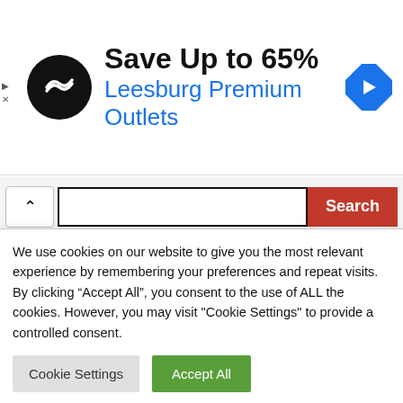[Figure (screenshot): Advertisement banner: black circular logo with double arrow icon, text 'Save Up to 65%' in bold black and 'Leesburg Premium Outlets' in blue, blue diamond arrow icon on right. Small play and close icons on far left.]
[Figure (screenshot): Search bar with up-arrow toggle button, text input field, and red Search button.]
Recent Posts
Adidas Baku Is Indexed right here To Get In far more
We use cookies on our website to give you the most relevant experience by remembering your preferences and repeat visits. By clicking “Accept All”, you consent to the use of ALL the cookies. However, you may visit "Cookie Settings" to provide a controlled consent.